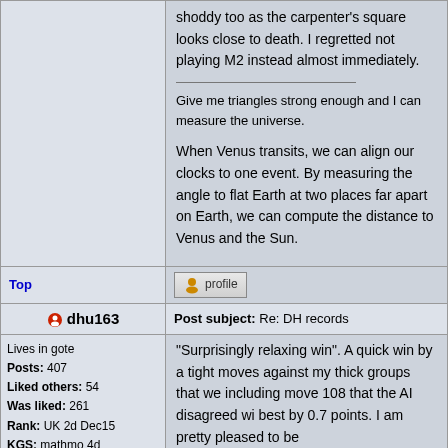shoddy too as the carpenter's square looks close to death. I regretted not playing M2 instead almost immediately.
Give me triangles strong enough and I can measure the universe.
When Venus transits, we can align our clocks to one event. By measuring the angle to flat Earth at two places far apart on Earth, we can compute the distance to Venus and the Sun.
Top
profile
dhu163
Post subject: Re: DH records
Lives in gote
Posts: 407
Liked others: 54
Was liked: 261
Rank: UK 2d Dec15
KGS: mathmo 4d
IGS: mathmo 4d
"Surprisingly relaxing win". A quick win by a tight moves against my thick groups that we including move 108 that the AI disagreed wi best by 0.7 points. I am pretty pleased to be